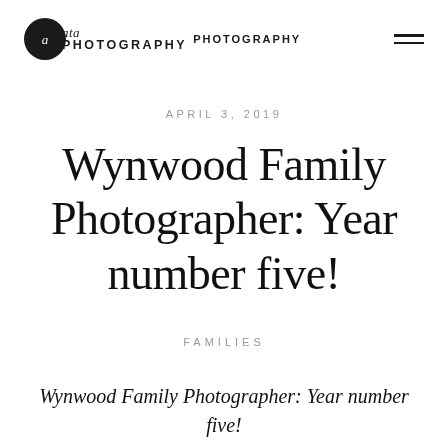ata PHOTOGRAPHY
APRIL 3, 2019
Wynwood Family Photographer: Year number five!
FAMILIES
Wynwood Family Photographer: Year number five!